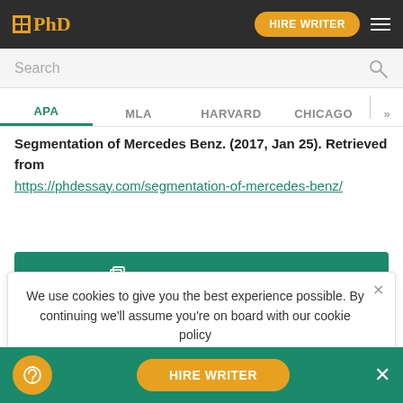PhD | HIRE WRITER
Search
APA  MLA  HARVARD  CHICAGO  >>
Segmentation of Mercedes Benz. (2017, Jan 25). Retrieved from https://phdessay.com/segmentation-of-mercedes-benz/
COPY TO CLIPBOARD
We use cookies to give you the best experience possible. By continuing we'll assume you're on board with our cookie policy
More related Essays
HIRE WRITER